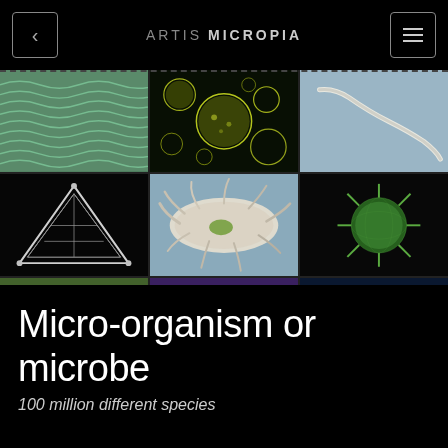ARTIS MICROPIA
[Figure (photo): 3x3 grid of microscope images of micro-organisms: cyanobacteria filaments, yellow-green algae spheres, nematode worm, triangular diatom, amoeba-like organism, spiky green algae, pollen grain on green surface, bacteria on purple background, fluorescence microscopy of red-orange organisms]
Micro-organism or microbe
100 million different species